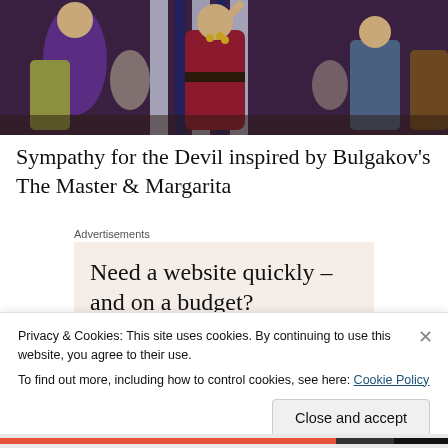[Figure (photo): Photo of performers on stage wearing colorful costumes including a figure in a red/maroon outfit with a belt, another in purple, and others holding musical instruments, with striped fabric backdrop.]
Sympathy for the Devil inspired by Bulgakov's The Master & Margarita
Advertisements
[Figure (infographic): Advertisement with beige/cream background showing text: Need a website quickly – and on a budget?]
Privacy & Cookies: This site uses cookies. By continuing to use this website, you agree to their use.
To find out more, including how to control cookies, see here: Cookie Policy
Close and accept